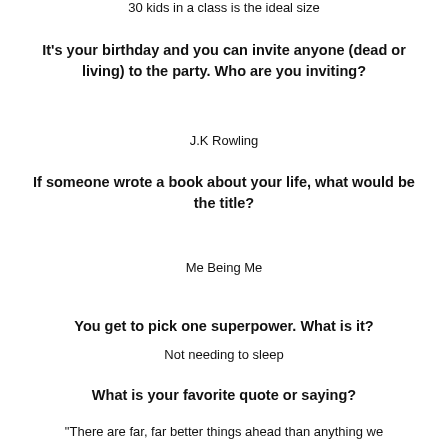30 kids in a class is the ideal size
It's your birthday and you can invite anyone (dead or living) to the party. Who are you inviting?
J.K Rowling
If someone wrote a book about your life, what would be the title?
Me Being Me
You get to pick one superpower. What is it?
Not needing to sleep
What is your favorite quote or saying?
“There are far, far better things ahead than anything we